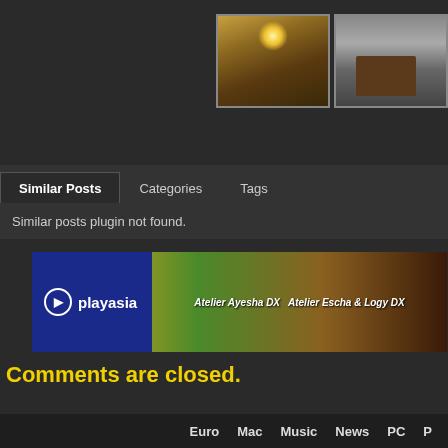[Figure (photo): Two game screenshot thumbnails showing outdoor rocky landscape with bright sun, and dark indoor room with furniture]
Similar Posts | Categories | Tags
Similar posts plugin not found.
[Figure (photo): Playasia banner advertisement featuring Atelier Ayesha DX and Atelier Escha & Logy DX games with anime characters]
Comments are closed.
Euro  Mac  Music  News  PC  P